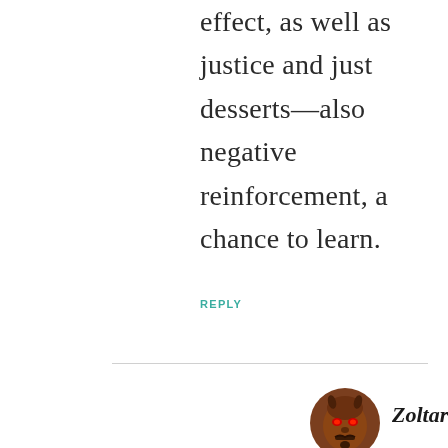effect, as well as justice and just desserts—also negative reinforcement, a chance to learn.
REPLY
Zoltar Speaks!